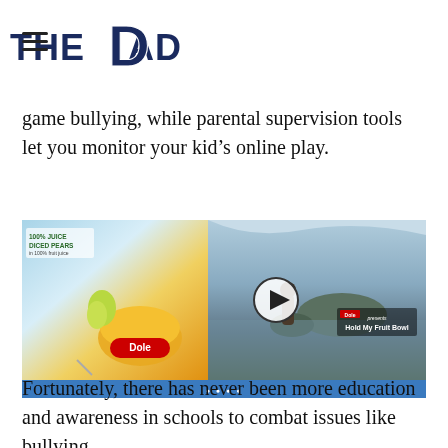THE DAD
game bullying, while parental supervision tools let you monitor your kid's online play.
[Figure (other): Embedded video thumbnail split in two: left side shows Dole fruit bowl product with pears and fruit cup; right side shows a man near a lake with Dole 'Hold My Fruit Bowl' text overlay and a play button in the center.]
Fortunately, there has never been more education and awareness in schools to combat issues like bullying.